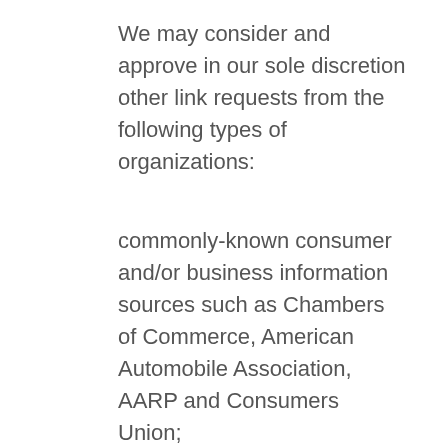We may consider and approve in our sole discretion other link requests from the following types of organizations:
commonly-known consumer and/or business information sources such as Chambers of Commerce, American Automobile Association, AARP and Consumers Union;
dot.com community sites;
associations or the